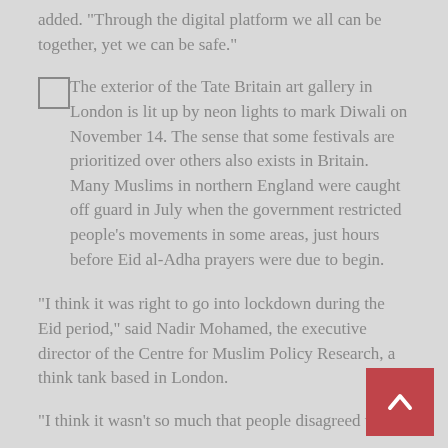added. “Through the digital platform we all can be together, yet we can be safe.”
The exterior of the Tate Britain art gallery in London is lit up by neon lights to mark Diwali on November 14. The sense that some festivals are prioritized over others also exists in Britain. Many Muslims in northern England were caught off guard in July when the government restricted people’s movements in some areas, just hours before Eid al-Adha prayers were due to begin.
“I think it was right to go into lockdown during the Eid period,” said Nadir Mohamed, the executive director of the Centre for Muslim Policy Research, a think tank based in London.
“I think it wasn’t so much that people disagreed with…